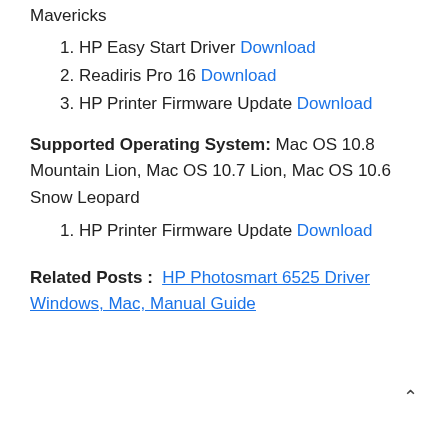Mavericks
1. HP Easy Start Driver Download
2. Readiris Pro 16 Download
3. HP Printer Firmware Update Download
Supported Operating System: Mac OS 10.8 Mountain Lion, Mac OS 10.7 Lion, Mac OS 10.6 Snow Leopard
1. HP Printer Firmware Update Download
Related Posts : HP Photosmart 6525 Driver Windows, Mac, Manual Guide